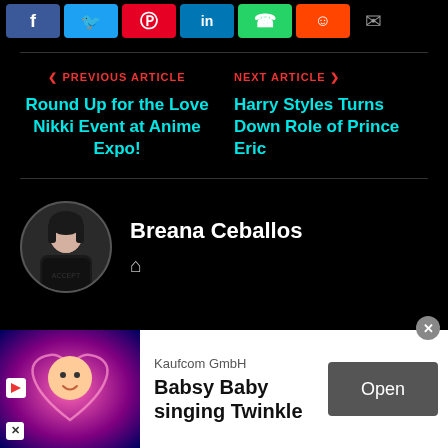[Figure (other): Social share buttons: Facebook (blue), Twitter (light blue), Pinterest (red), LinkedIn (blue), WhatsApp (green), Reddit (orange), Email (envelope icon)]
PREVIOUS ARTICLE
Round Up for the Love Nikki Event at Anime Expo!
NEXT ARTICLE
Harry Styles Turns Down Role of Prince Eric
[Figure (photo): Circular avatar photo of Breana Ceballos, a young woman with dark hair]
Breana Ceballos
[Figure (other): Advertisement banner: Kaufcom GmbH - Babsy Baby singing Twinkle, with Open button]